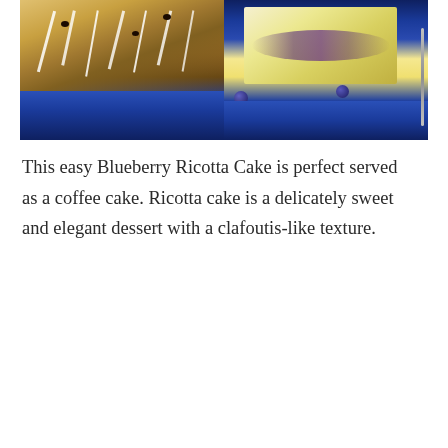[Figure (photo): Two side-by-side food photos: left shows slices of blueberry ricotta cake with white icing drizzle on a blue plate; right shows a close-up slice of the cake revealing blueberry filling with fresh blueberries scattered on a blue plate.]
This easy Blueberry Ricotta Cake is perfect served as a coffee cake. Ricotta cake is a delicately sweet and elegant dessert with a clafoutis-like texture.